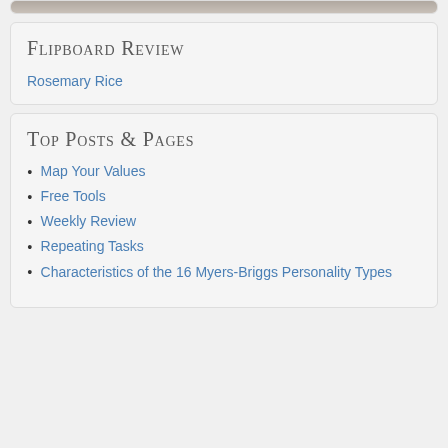[Figure (photo): Partial photo of a person at the top of the page, cropped]
Flipboard Review
Rosemary Rice
Top Posts & Pages
Map Your Values
Free Tools
Weekly Review
Repeating Tasks
Characteristics of the 16 Myers-Briggs Personality Types